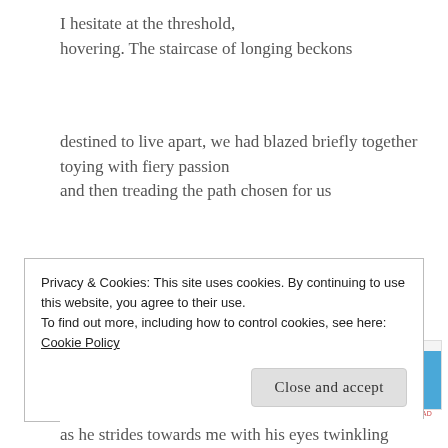I hesitate at the threshold,
hovering. The staircase of longing beckons
destined to live apart, we had blazed briefly together
toying with fiery passion
and then treading the path chosen for us
[Figure (other): WooCommerce advertisement banner: 'How to start selling subscriptions online']
REPORT THIS AD
Privacy & Cookies: This site uses cookies. By continuing to use this website, you agree to their use.
To find out more, including how to control cookies, see here:
Cookie Policy

Close and accept
as he strides towards me with his eyes twinkling